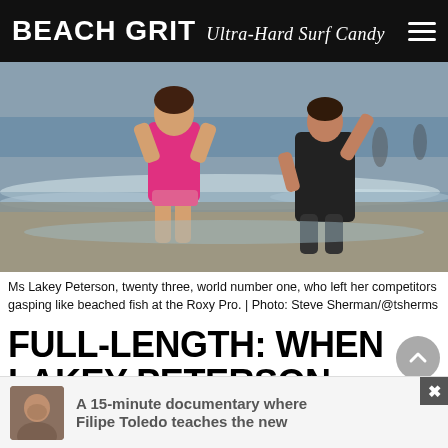BEACH GRIT Ultra-Hard Surf Candy
[Figure (photo): Two people jumping on a beach near the ocean shoreline. One person wearing a pink rash guard and pink bikini bottoms, the other wearing a dark t-shirt and shorts.]
Ms Lakey Peterson, twenty three, world number one, who left her competitors gasping like beached fish at the Roxy Pro. | Photo: Steve Sherman/@tsherms
FULL-LENGTH: WHEN LAKEY PETERSON LEARNED TO FLY!
A 15-minute documentary where Filipe Toledo teaches the new